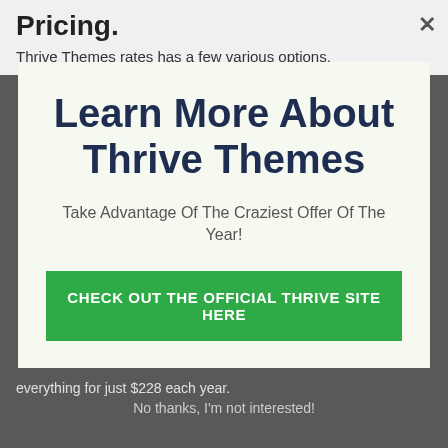Pricing.
Thrive Themes rates has a few various options.
[Figure (screenshot): Modal popup with title 'Learn More About Thrive Themes', subtitle 'Take Advantage Of The Craziest Offer Of The Year!', and a green CTA button 'CHECK OUT THE OFFICIAL THRIVE SITE HERE']
everything for just $228 each year.
No thanks, I'm not interested!